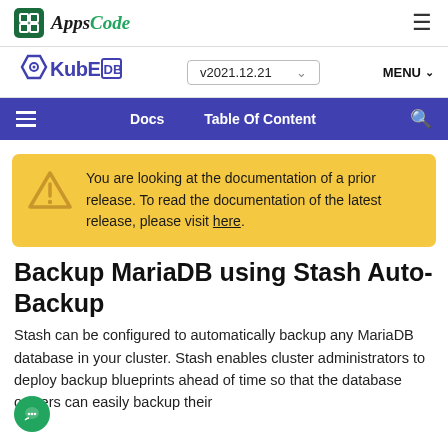AppsCode
KubeDB v2021.12.21 MENU
Docs  Table Of Content
You are looking at the documentation of a prior release. To read the documentation of the latest release, please visit here.
Backup MariaDB using Stash Auto-Backup
Stash can be configured to automatically backup any MariaDB database in your cluster. Stash enables cluster administrators to deploy backup blueprints ahead of time so that the database owners can easily backup their